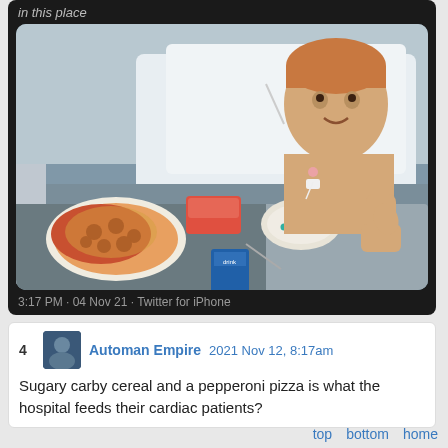in this place
[Figure (photo): A young boy lying in a hospital bed, shirtless with medical sensors on his chest, smiling and giving a thumbs up. On a tray table in front of him is a pepperoni pizza on a white plate, a bowl of sugary colorful cereal, a red container with food, and a blue drink carton.]
3:17 PM · 04 Nov 21 · Twitter for iPhone
4   Automan Empire   2021 Nov 12, 8:17am
Sugary carby cereal and a pepperoni pizza is what the hospital feeds their cardiac patients?